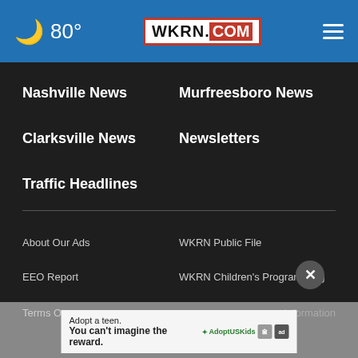🌙 80° WKRN.COM ☰
Nashville News
Murfreesboro News
Clarksville News
Newsletters
Traffic Headlines
About Our Ads
WKRN Public File
EEO Report
WKRN Children's Programming
Nexstar CC Certification
Privacy Policy
Terms O...
Information
[Figure (screenshot): Ad banner: Adopt a teen. You can't imagine the reward. AdoptUSKids logo, HHS logo, ad badge.]